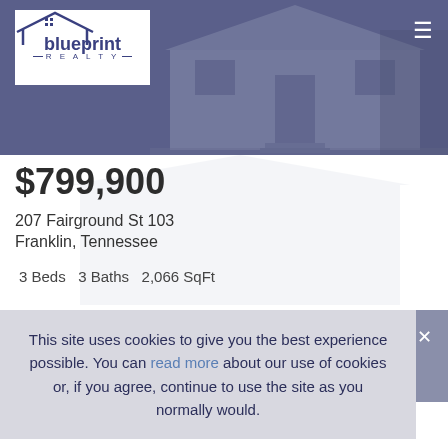[Figure (logo): Blueprint Realty logo with house icon and text]
$799,900
207 Fairground St 103
Franklin, Tennessee
3 Beds   3 Baths   2,066 SqFt
This site uses cookies to give you the best experience possible. You can read more about our use of cookies or, if you agree, continue to use the site as you normally would.